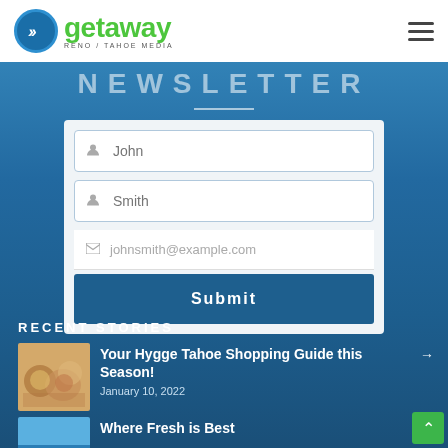getaway RENO / TAHOE MEDIA
NEWSLETTER
[Figure (screenshot): Newsletter signup form with fields for John (first name), Smith (last name), johnsmith@example.com (email), and a Submit button]
RECENT STORIES
Your Hygge Tahoe Shopping Guide this Season!
January 10, 2022
Where Fresh is Best